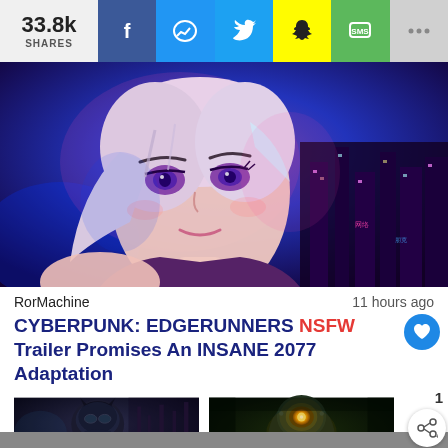33.8k SHARES
[Figure (illustration): Anime-style illustration of a woman with pink/white hair and purple eyes in a cyberpunk city night scene with neon colors]
RorMachine	11 hours ago
CYBERPUNK: EDGERUNNERS NSFW Trailer Promises An INSANE 2077 Adaptation
[Figure (photo): Batman-style character in dark armored suit]
[Figure (photo): Bioshock Big Daddy character with glowing eye in dark underwater scene]
DanielKliss...	1 day ago	JoshWilding	5 days ago